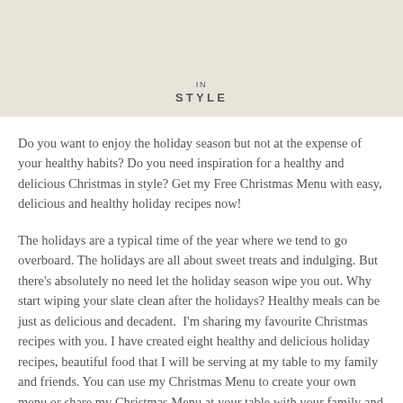[Figure (other): Beige/tan banner header with the text 'IN STYLE' in spaced capital letters]
Do you want to enjoy the holiday season but not at the expense of your healthy habits? Do you need inspiration for a healthy and delicious Christmas in style? Get my Free Christmas Menu with easy, delicious and healthy holiday recipes now!
The holidays are a typical time of the year where we tend to go overboard. The holidays are all about sweet treats and indulging. But there's absolutely no need let the holiday season wipe you out. Why start wiping your slate clean after the holidays? Healthy meals can be just as delicious and decadent.  I'm sharing my favourite Christmas recipes with you. I have created eight healthy and delicious holiday recipes, beautiful food that I will be serving at my table to my family and friends. You can use my Christmas Menu to create your own menu or share my Christmas Menu at your table with your family and friends.